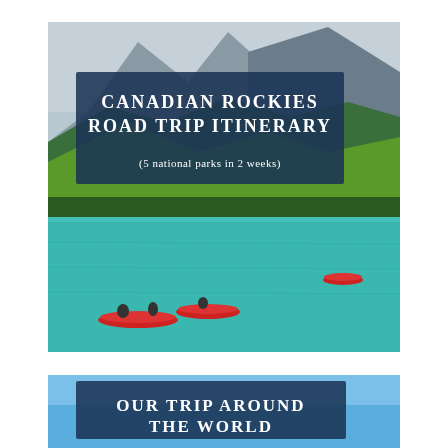[Figure (photo): A scenic photo of a turquoise mountain lake with red canoes, forested mountains and glacial peaks in background. Overlaid with dark navy text box reading 'CANADIAN ROCKIES ROAD TRIP ITINERARY (5 national parks in 2 weeks)']
[Figure (photo): A bright blue sky photo with a dark navy text box partially visible reading 'OUR TRIP AROUND THE WORLD']